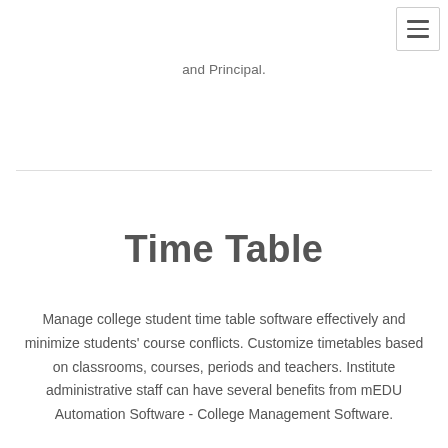and Principal.
Time Table
Manage college student time table software effectively and minimize students' course conflicts. Customize timetables based on classrooms, courses, periods and teachers. Institute administrative staff can have several benefits from mEDU Automation Software - College Management Software.